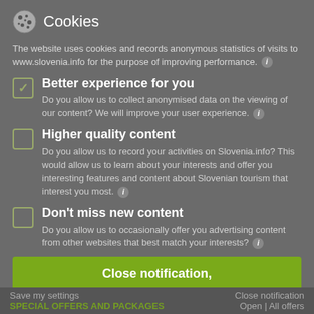Cookies
The website uses cookies and records anonymous statistics of visits to www.slovenia.info for the purpose of improving performance.
Better experience for you
Do you allow us to collect anonymised data on the viewing of our content? We will improve your user experience.
Higher quality content
Do you allow us to record your activities on Slovenia.info? This would allow us to learn about your interests and offer you interesting features and content about Slovenian tourism that interest you most.
Don't miss new content
Do you allow us to occasionally offer you advertising content from other websites that best match your interests?
Close notification,
I allow the use of my data for all the purposes listed above.
Save my settings | Close notification | SPECIAL OFFERS AND PACKAGES | Open | All offers